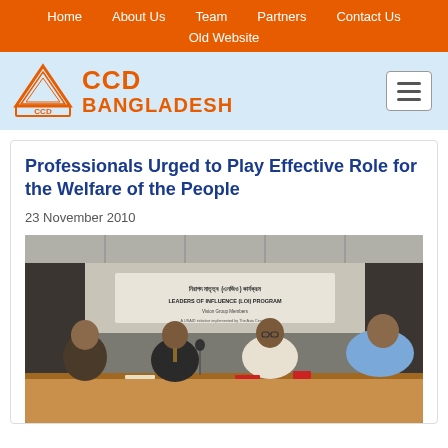Home  About Us  Team  Partners  Contact Us  Old Website
[Figure (logo): CCD Bangladesh logo with orange tent/pyramid icon and orange bold text 'CCD BANGLADESH']
Professionals Urged to Play Effective Role for the Welfare of the People
23 November 2010
[Figure (photo): Four men seated at a conference table with a banner reading 'LEADERS OF INFLUENCE (LOI) PROGRAM' in the background, appearing to be at a formal meeting or press conference.]